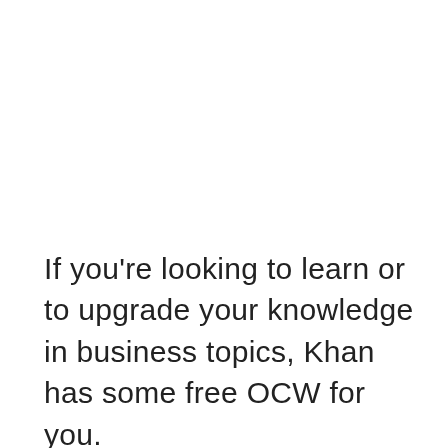If you're looking to learn or to upgrade your knowledge in business topics, Khan has some free OCW for you.
Free online courses offered by Khan Academy include topics in Finance, Accounting, Physics, Biology and